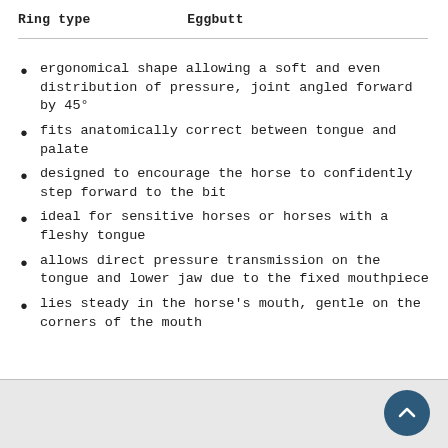Ring type   Eggbutt
ergonomical shape allowing a soft and even distribution of pressure, joint angled forward by 45°
fits anatomically correct between tongue and palate
designed to encourage the horse to confidently step forward to the bit
ideal for sensitive horses or horses with a fleshy tongue
allows direct pressure transmission on the tongue and lower jaw due to the fixed mouthpiece
lies steady in the horse's mouth, gentle on the corners of the mouth